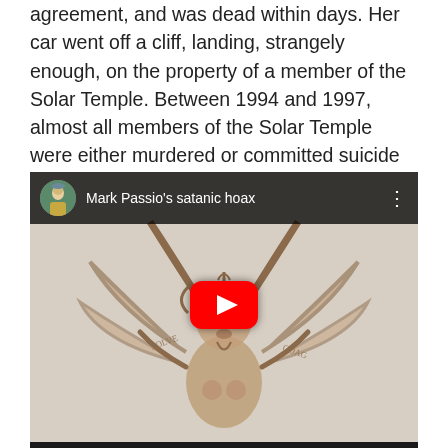agreement, and was dead within days. Her car went off a cliff, landing, strangely enough, on the property of a member of the Solar Temple. Between 1994 and 1997, almost all members of the Solar Temple were either murdered or committed suicide at the time when various crimes fomented by the leaders were unraveling.
[Figure (screenshot): YouTube video embed showing 'Mark Passio's satanic hoax' with a Baphomet illustration as thumbnail. The video player shows a channel avatar in the top-left, video title text, three-dot menu icon, and a red YouTube play button in the center.]